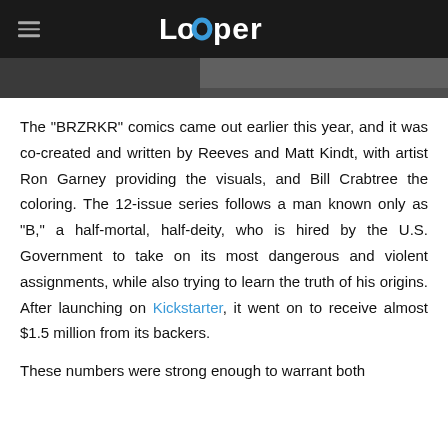Looper
[Figure (photo): Partial photo strip showing a person, dark background]
The "BRZRKR" comics came out earlier this year, and it was co-created and written by Reeves and Matt Kindt, with artist Ron Garney providing the visuals, and Bill Crabtree the coloring. The 12-issue series follows a man known only as "B," a half-mortal, half-deity, who is hired by the U.S. Government to take on its most dangerous and violent assignments, while also trying to learn the truth of his origins. After launching on Kickstarter, it went on to receive almost $1.5 million from its backers.
These numbers were strong enough to warrant both